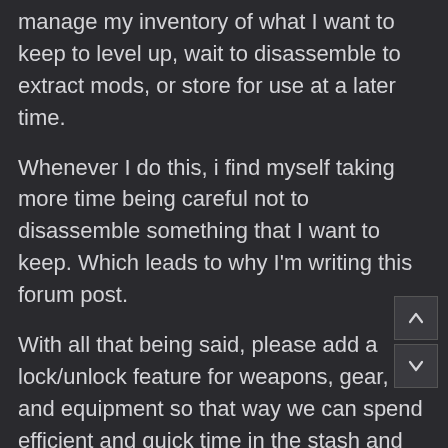manage my inventory of what I want to keep to level up, wait to disassemble to extract mods, or store for use at a later time.
Whenever I do this, i find myself taking more time being careful not to disassemble something that I want to keep. Which leads to why I'm writing this forum post.
With all that being said, please add a lock/unlock feature for weapons, gear, and equipment so that way we can spend efficient and quick time in the stash and be able to get back into the Night City playground quicker.
Sincerely,
A fan of your game.